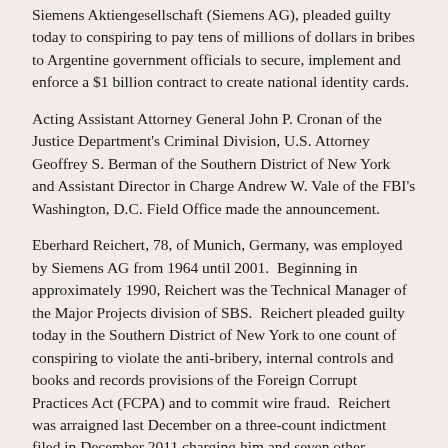Siemens Aktiengesellschaft (Siemens AG), pleaded guilty today to conspiring to pay tens of millions of dollars in bribes to Argentine government officials to secure, implement and enforce a $1 billion contract to create national identity cards.
Acting Assistant Attorney General John P. Cronan of the Justice Department's Criminal Division, U.S. Attorney Geoffrey S. Berman of the Southern District of New York and Assistant Director in Charge Andrew W. Vale of the FBI's Washington, D.C. Field Office made the announcement.
Eberhard Reichert, 78, of Munich, Germany, was employed by Siemens AG from 1964 until 2001. Beginning in approximately 1990, Reichert was the Technical Manager of the Major Projects division of SBS. Reichert pleaded guilty today in the Southern District of New York to one count of conspiring to violate the anti-bribery, internal controls and books and records provisions of the Foreign Corrupt Practices Act (FCPA) and to commit wire fraud. Reichert was arraigned last December on a three-count indictment filed in December 2011 charging him and seven other individuals. He will be sentenced by U.S. District Judge Denise L. Cote of the Southern District of New York, who accepted his plea today.
“Far too often, companies pay bribes as part of their business plan, upsetting what should be a level playing field and harming companies that play by the rules,” said Acting Assistant Attorney General Cronan. “In this case, one of the largest public companies in the world paid staggeringly large bribes to officials at the uppermost levels of the government of Argentina to secure a billion-dollar